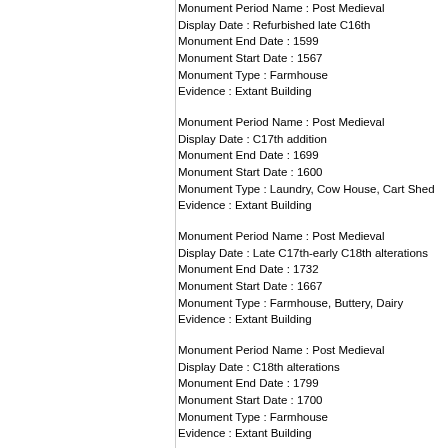Monument Period Name : Post Medieval
Display Date : Refurbished late C16th
Monument End Date : 1599
Monument Start Date : 1567
Monument Type : Farmhouse
Evidence : Extant Building
Monument Period Name : Post Medieval
Display Date : C17th addition
Monument End Date : 1699
Monument Start Date : 1600
Monument Type : Laundry, Cow House, Cart Shed
Evidence : Extant Building
Monument Period Name : Post Medieval
Display Date : Late C17th-early C18th alterations
Monument End Date : 1732
Monument Start Date : 1667
Monument Type : Farmhouse, Buttery, Dairy
Evidence : Extant Building
Monument Period Name : Post Medieval
Display Date : C18th alterations
Monument End Date : 1799
Monument Start Date : 1700
Monument Type : Farmhouse
Evidence : Extant Building
Monument Period Name : 20th Century
Display Date : Restored 1990s
Monument End Date : 1997
Monument Start Date : 1990
Monument Type : Farmhouse
Evidence : Extant Building